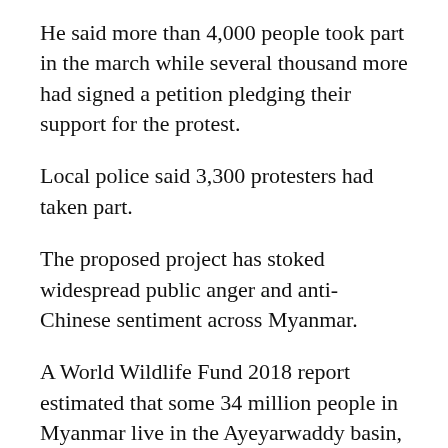He said more than 4,000 people took part in the march while several thousand more had signed a petition pledging their support for the protest.
Local police said 3,300 protesters had taken part.
The proposed project has stoked widespread public anger and anti-Chinese sentiment across Myanmar.
A World Wildlife Fund 2018 report estimated that some 34 million people in Myanmar live in the Ayeyarwaddy basin, roughly two thirds of the country's population.
An environmental assessment commissioned by the Myanmar government five years ago strongly advised against the dam's construction, saying the